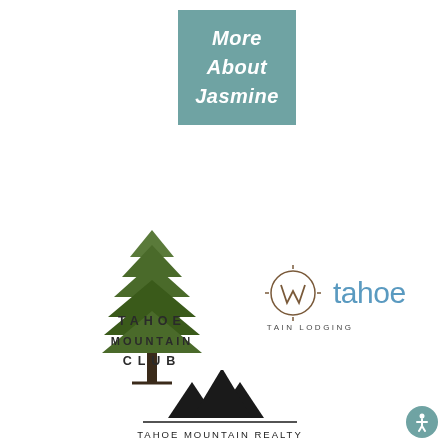More About Jasmine
[Figure (logo): Tahoe Mountain Club logo with pine tree and stacked text TAHOE MOUNTAIN CLUB]
[Figure (logo): Tahoe Mountain Lodging logo with compass rose and tahoe text]
[Figure (logo): Tahoe Mountain Realty logo with mountain peaks and text TAHOE MOUNTAIN REALTY]